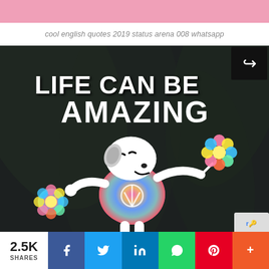[Figure (photo): Pink decorative banner or header image at the top of the page]
cool english quotes 2019 status arena 008 whatsapp
[Figure (illustration): Dark background image with text 'LIFE CAN BE AMAZING' in large white bold letters at the top, and a cartoon Snoopy character wearing a tie-dye shirt and holding colorful flowers, with a share icon in the top right corner]
2.5K SHARES